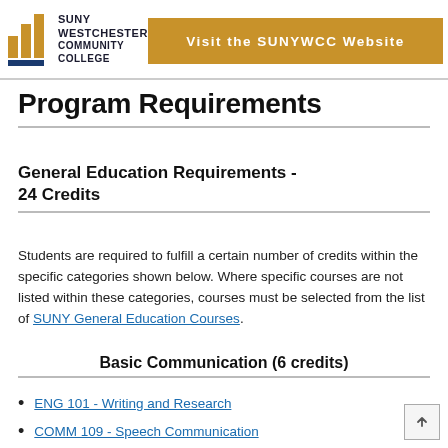[Figure (logo): SUNY Westchester Community College logo with bar chart icon in navy/gold and text]
Visit the SUNYWCC Website
Program Requirements
General Education Requirements - 24 Credits
Students are required to fulfill a certain number of credits within the specific categories shown below. Where specific courses are not listed within these categories, courses must be selected from the list of SUNY General Education Courses.
Basic Communication (6 credits)
ENG 101 - Writing and Research
COMM 109 - Speech Communication